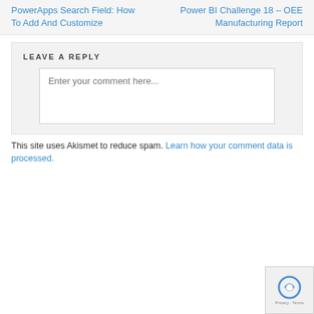PowerApps Search Field: How To Add And Customize
Power BI Challenge 18 – OEE Manufacturing Report
LEAVE A REPLY
Enter your comment here...
This site uses Akismet to reduce spam.
Learn how your comment data is processed.